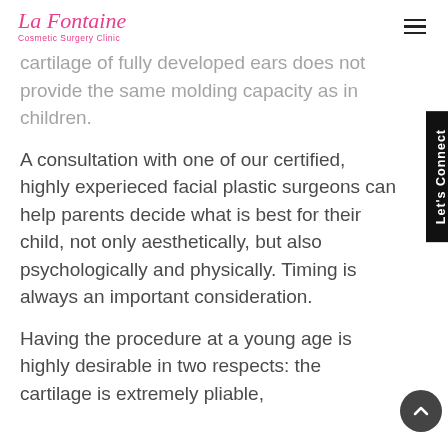La Fontaine Cosmetic Surgery Clinic
cartilage of fully developed ears does not provide the same molding capacity as in children.
A consultation with one of our certified, highly experieced facial plastic surgeons can help parents decide what is best for their child, not only aesthetically, but also psychologically and physically. Timing is always an important consideration.
Having the procedure at a young age is highly desirable in two respects: the cartilage is extremely pliable,